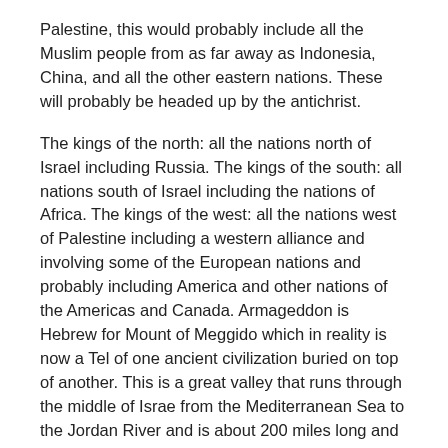Palestine, this would probably include all the Muslim people from as far away as Indonesia, China, and all the other eastern nations. These will probably be headed up by the antichrist.
The kings of the north: all the nations north of Israel including Russia. The kings of the south: all nations south of Israel including the nations of Africa. The kings of the west: all the nations west of Palestine including a western alliance and involving some of the European nations and probably including America and other nations of the Americas and Canada. Armageddon is Hebrew for Mount of Meggido which in reality is now a Tel of one ancient civilization buried on top of another. This is a great valley that runs through the middle of Israe from the Mediterranean Sea to the Jordan River and is about 200 miles long and ten miles wide.
John saw coming out of the mouth of the dragon and out of the mouth of the beast and out of the mouth of the